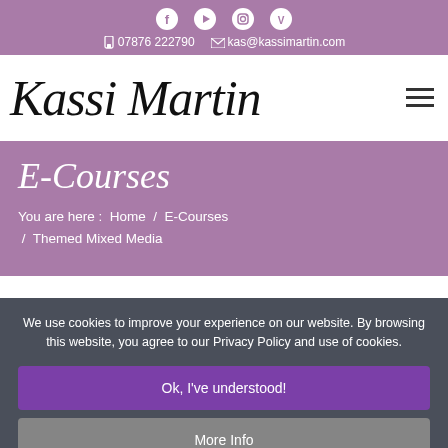Social icons: Facebook, YouTube, Instagram, Vimeo | 07876 222790 | kas@kassimartin.com
Kassi Martin
E-Courses
You are here: Home / E-Courses / Themed Mixed Media
We use cookies to improve your experience on our website. By browsing this website, you agree to our Privacy Policy and use of cookies.
Ok, I've understood!
More Info
Themed Mixed Media